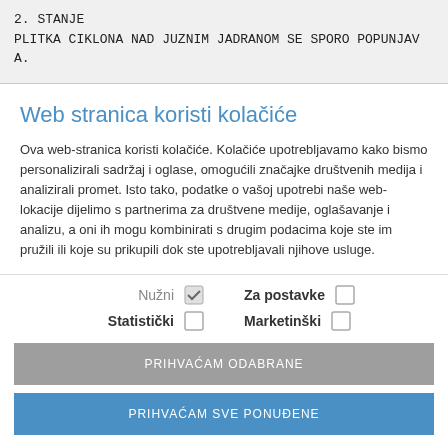2. STANJE
PLITKA CIKLONA NAD JUZNIM JADRANOM SE SPORO POPUNJAVA.
Web stranica koristi kolačiće
Ova web-stranica koristi kolačiće. Kolačiće upotrebljavamo kako bismo personalizirali sadržaj i oglase, omogućili značajke društvenih medija i analizirali promet. Isto tako, podatke o vašoj upotrebi naše web-lokacije dijelimo s partnerima za društvene medije, oglašavanje i analizu, a oni ih mogu kombinirati s drugim podacima koje ste im pružili ili koje su prikupili dok ste upotrebljavali njihove usluge.
Nužni [checked] Za postavke [ ] Statistički [ ] Marketinški [ ]
PRIHVAĆAM ODABRANE
PRIHVAĆAM SVE PONUĐENE